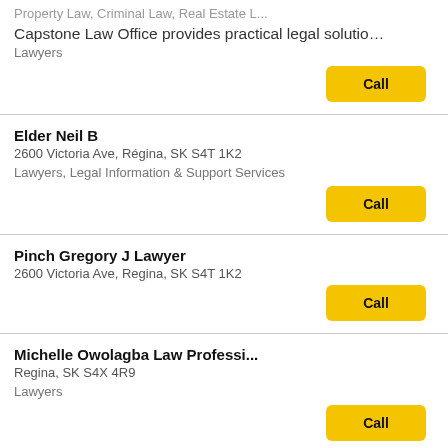Property Law, Criminal Law, Real Estate L...
Capstone Law Office provides practical legal solutio...
Lawyers
Call
Elder Neil B
2600 Victoria Ave, Régina, SK S4T 1K2
Lawyers, Legal Information & Support Services
Call
Pinch Gregory J Lawyer
2600 Victoria Ave, Regina, SK S4T 1K2
Call
Michelle Owolagba Law Professi...
Regina, SK S4X 4R9
Lawyers
Call